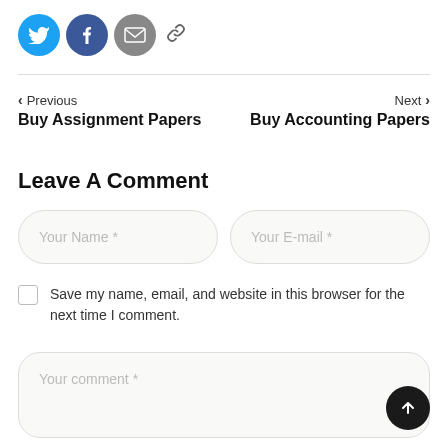[Figure (other): Social share icons: Twitter (blue circle), Facebook (dark blue circle), Email (gray circle), and a link icon]
< Previous
Buy Assignment Papers
Next >
Buy Accounting Papers
Leave A Comment
Your Name *
Your E-mail *
Save my name, email, and website in this browser for the next time I comment.
Your comment *